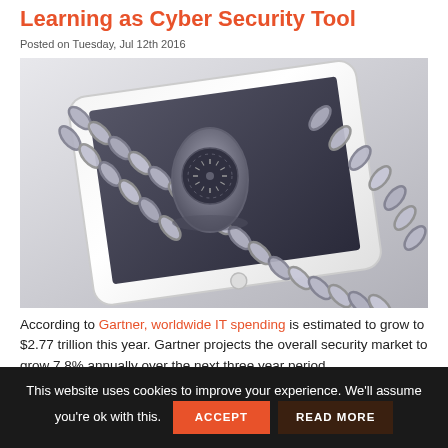Learning as Cyber Security Tool
Posted on Tuesday, Jul 12th 2016
[Figure (photo): A white tablet device wrapped in metal chain links secured with a combination padlock, photographed on a white background, symbolizing cybersecurity and device protection.]
According to Gartner, worldwide IT spending is estimated to grow to $2.77 trillion this year. Gartner projects the overall security market to grow 7.8% annually over the next three year period.
This website uses cookies to improve your experience. We'll assume you're ok with this.